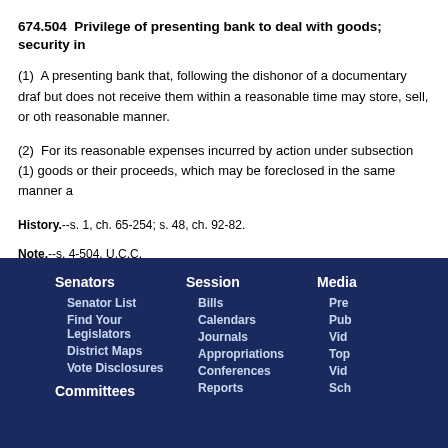674.504  Privilege of presenting bank to deal with goods; security in
(1)  A presenting bank that, following the dishonor of a documentary draf but does not receive them within a reasonable time may store, sell, or oth reasonable manner.
(2)  For its reasonable expenses incurred by action under subsection (1) goods or their proceeds, which may be foreclosed in the same manner a
History.--s. 1, ch. 65-254; s. 48, ch. 92-82.
Note.--s. 4-504, U.C.C.
Senators | Senator List | Find Your Legislators | District Maps | Vote Disclosures | Committees | Session | Bills | Calendars | Journals | Appropriations | Conferences | Reports | Media | Pre Pub Vid Top Vid Sch